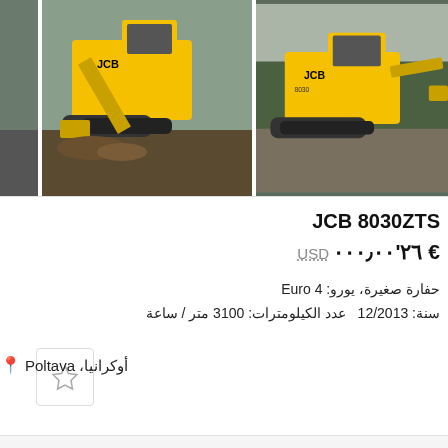[Figure (photo): Two yellow JCB 8030ZTS mini excavators photographed outdoors. Left image shows the excavator working on dirt ground with industrial background. Right image shows the excavator parked on gravel/road surface with trees in background.]
JCB 8030ZTS
€ ٢٦'٠٠٠٫٠٠  USD
حفارة صغيرة، يورو: Euro 4
سنة: 12/2013  عدد الكيلومترات: 3100 متر / ساعة
أوكرانيا، Poltava